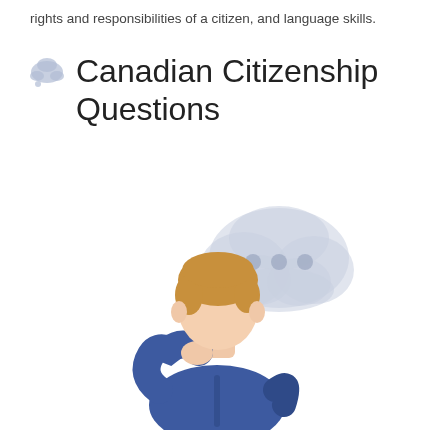rights and responsibilities of a citizen, and language skills.
Canadian Citizenship Questions
[Figure (illustration): Flat-style illustration of a person with brown hair wearing a blue sweater, hand raised to chin in a thinking pose, with a light-blue thought bubble to the upper right containing three dots.]